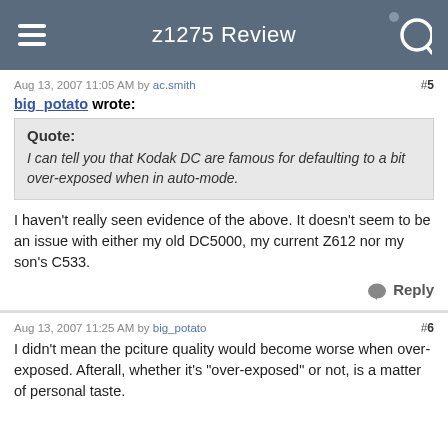z1275 Review
Aug 13, 2007 11:05 AM by ac.smith  #5
big_potato wrote:
Quote: I can tell you that Kodak DC are famous for defaulting to a bit over-exposed when in auto-mode.
I haven't really seen evidence of the above. It doesn't seem to be an issue with either my old DC5000, my current Z612 nor my son's C533.
Reply
Aug 13, 2007 11:25 AM by big_potato  #6
I didn't mean the pciture quality would become worse when over-exposed. Afterall, whether it's "over-exposed" or not, is a matter of personal taste.